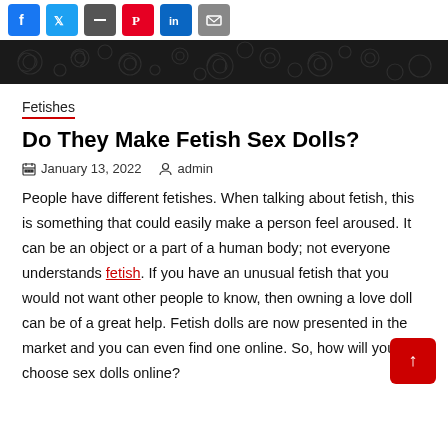[Figure (other): Social media share icons: Facebook, Twitter, email/dash, Pinterest, LinkedIn, email]
[Figure (other): Decorative dark banner with swirling pattern in dark grey on black background]
Fetishes
Do They Make Fetish Sex Dolls?
January 13, 2022   admin
People have different fetishes. When talking about fetish, this is something that could easily make a person feel aroused. It can be an object or a part of a human body; not everyone understands fetish. If you have an unusual fetish that you would not want other people to know, then owning a love doll can be of a great help. Fetish dolls are now presented in the market and you can even find one online. So, how will you choose sex dolls online?